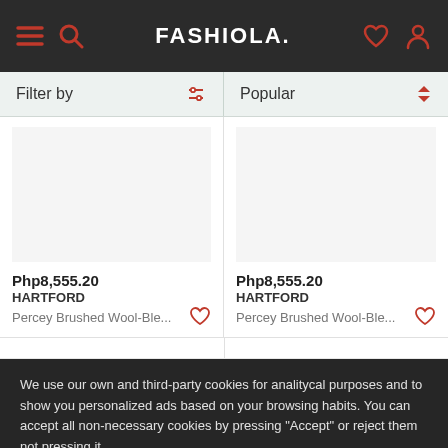FASHIOLA.
Filter by | Popular
Php8,555.20
HARTFORD
Percey Brushed Wool-Ble...
Php8,555.20
HARTFORD
Percey Brushed Wool-Ble...
We use our own and third-party cookies for analitycal purposes and to show you personalized ads based on your browsing habits. You can accept all non-necessary cookies by pressing "Accept" or reject them not pressing it.
More information
Accept